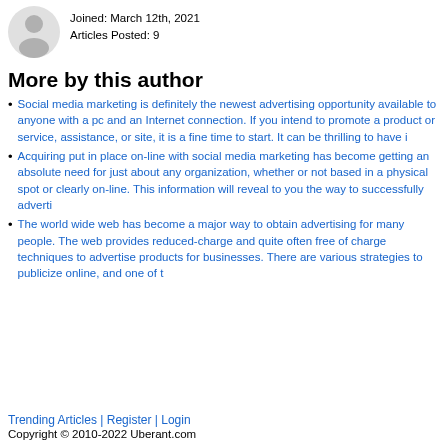Joined: March 12th, 2021
Articles Posted: 9
More by this author
Social media marketing is definitely the newest advertising opportunity available to anyone with a pc and an Internet connection. If you intend to promote a product or service, assistance, or site, it is a fine time to start. It can be thrilling to have i
Acquiring put in place on-line with social media marketing has become getting an absolute need for just about any organization, whether or not based in a physical spot or clearly on-line. This information will reveal to you the way to successfully adverti
The world wide web has become a major way to obtain advertising for many people. The web provides reduced-charge and quite often free of charge techniques to advertise products for businesses. There are various strategies to publicize online, and one of t
Trending Articles | Register | Login
Copyright © 2010-2022 Uberant.com